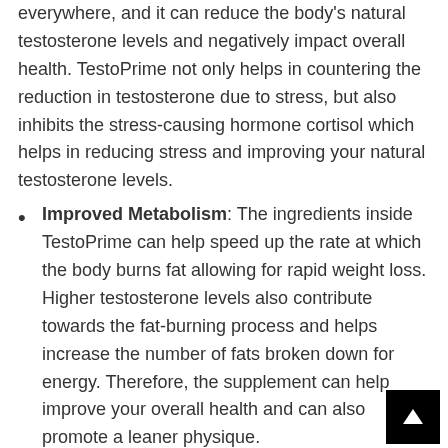everywhere, and it can reduce the body's natural testosterone levels and negatively impact overall health. TestoPrime not only helps in countering the reduction in testosterone due to stress, but also inhibits the stress-causing hormone cortisol which helps in reducing stress and improving your natural testosterone levels.
Improved Metabolism: The ingredients inside TestoPrime can help speed up the rate at which the body burns fat allowing for rapid weight loss. Higher testosterone levels also contribute towards the fat-burning process and helps increase the number of fats broken down for energy. Therefore, the supplement can help improve your overall health and can also promote a leaner physique.
Improved Muscle Strength: The correlation between muscle growth and testosterone is well-